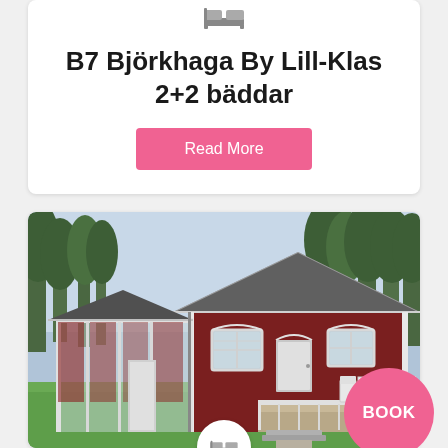[Figure (other): Bed/accommodation icon at top of card]
B7 Björkhaga By Lill-Klas 2+2 bäddar
Read More
[Figure (photo): Photo of a red Swedish cottage with white trim, a covered porch/veranda on the left, white outdoor furniture on the right deck, surrounded by green grass and trees. A pink circular BOOK button overlays the lower right of the image.]
[Figure (other): Bed/accommodation icon at bottom of photo card]